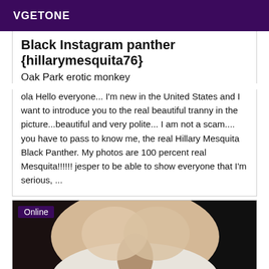VGETONE
Black Instagram panther {hillarymesquita76}
Oak Park erotic monkey
ola Hello everyone... I'm new in the United States and I want to introduce you to the real beautiful tranny in the picture...beautiful and very polite... I am not a scam.... you have to pass to know me, the real Hillary Mesquita Black Panther. My photos are 100 percent real Mesquita!!!!!! jesper to be able to show everyone that I'm serious, ...
[Figure (photo): A partially visible photo of a person in a white top, with an 'Online' badge overlaid in the top-left corner.]